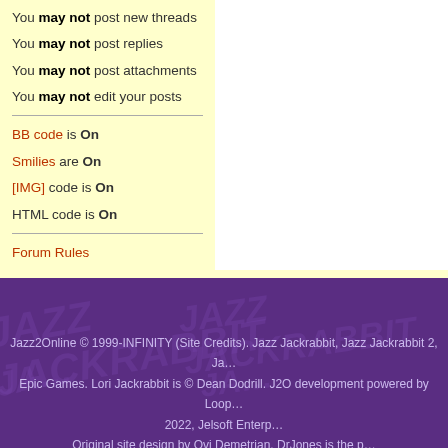You may not post new threads
You may not post replies
You may not post attachments
You may not edit your posts
BB code is On
Smilies are On
[IMG] code is On
HTML code is On
Forum Rules
All times are GMT -8. The tim
Jazz2Online © 1999-INFINITY (Site Credits). Jazz Jackrabbit, Jazz Jackrabbit 2, Ja… Epic Games. Lori Jackrabbit is © Dean Dodrill. J2O development powered by Loop… 2022, Jelsoft Enterp… Original site design by Ovi Demetrian. DrJones is the p…